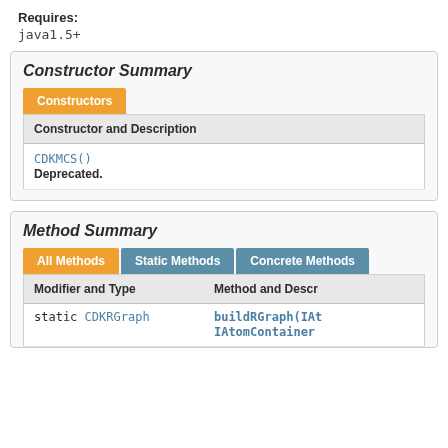Requires: java1.5+
Constructor Summary
| Constructor and Description |
| --- |
| CDKMCS()
Deprecated. |
Method Summary
| Modifier and Type | Method and Descr |
| --- | --- |
| static CDKRGraph | buildRGraph(IAt IAtomContainer |